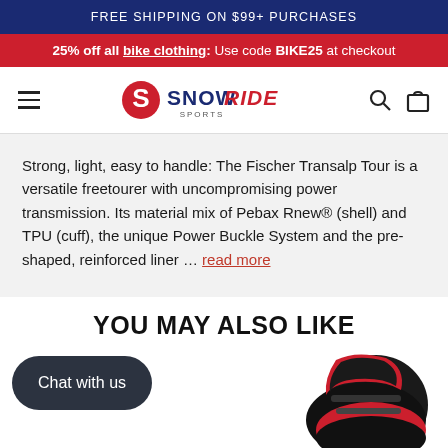FREE SHIPPING ON $99+ PURCHASES
25% off all bike clothing: Use code BIKE25 at checkout
[Figure (logo): SnowRide Sports logo with hamburger menu, search icon, and bag icon]
Strong, light, easy to handle: The Fischer Transalp Tour is a versatile freetourer with uncompromising power transmission. Its material mix of Pebax Rnew® (shell) and TPU (cuff), the unique Power Buckle System and the pre-shaped, reinforced liner ... read more
YOU MAY ALSO LIKE
Chat with us
[Figure (photo): Partial product image showing a ski boot in red and black colors]